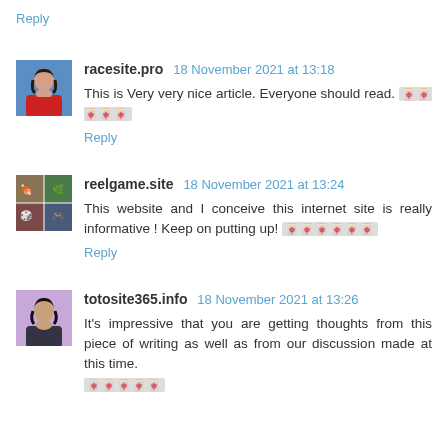Reply
racesite.pro 18 November 2021 at 13:18
This is Very very nice article. Everyone should read. 🎰🎰🎰🎰🎰
Reply
reelgame.site 18 November 2021 at 13:24
This website and I conceive this internet site is really informative ! Keep on putting up! 🎰🎰🎰🎰🎰🎰
Reply
totosite365.info 18 November 2021 at 13:26
It's impressive that you are getting thoughts from this piece of writing as well as from our discussion made at this time. 🎰🎰🎰🎰🎰